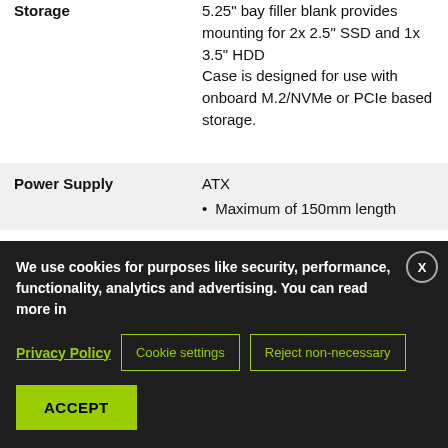| Specification | Details |
| --- | --- |
| Storage | 5.25" bay filler blank provides mounting for 2x 2.5" SSD and 1x 3.5" HDD
Case is designed for use with onboard M.2/NVMe or PCIe based storage. |
| Power Supply | ATX
• Maximum of 150mm length |
| Front Panel I/O | 2x USB 3.0 Type A to 19-Pin |
We use cookies for purposes like security, performance, functionality, analytics and advertising. You can read more in
Privacy Policy | Cookie settings | Reject non-necessary | ACCEPT